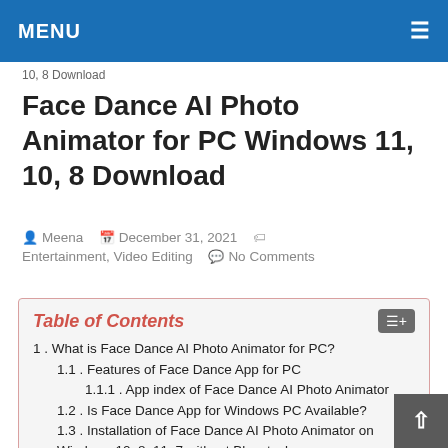MENU ☰
10, 8 Download
Face Dance AI Photo Animator for PC Windows 11, 10, 8 Download
Meena   December 31, 2021   Entertainment, Video Editing   No Comments
1. What is Face Dance AI Photo Animator for PC?
1.1. Features of Face Dance App for PC
1.1.1. App index of Face Dance AI Photo Animator
1.2. Is Face Dance App for Windows PC Available?
1.3. Installation of Face Dance AI Photo Animator on Windows 10, 8, 11, 7 without Bluestacks
1.3.1. Conclusion of Face Dance AI Photo Animator for PC